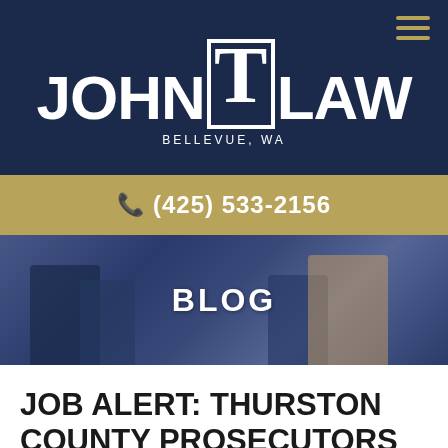[Figure (logo): John T Law logo with large T in a box, text JOHN LAW flanking it, BELLEVUE, WA subtitle, on dark navy background]
(425) 533-2156
[Figure (photo): Blog banner with blurred photo of people in a meeting/office setting with dark overlay, text BLOG centered]
JOB ALERT: THURSTON COUNTY PROSECUTORS